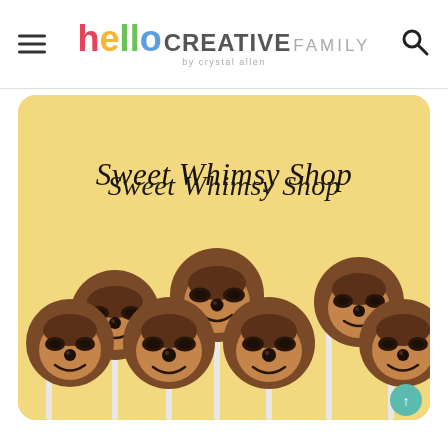hello CREATIVE FAMILY by crystal allen
[Figure (photo): Yellow background photo showing seven sloth cake pops on sticks arranged in two rows, each with brown chocolate coating, lighter face, and hand-drawn sloth facial features including dark eyes, round nose, and smile. Text 'Sweet Whimsy Shop' in italic serif font overlaid on the upper portion of the image.]
Sweet Whimsy Shop